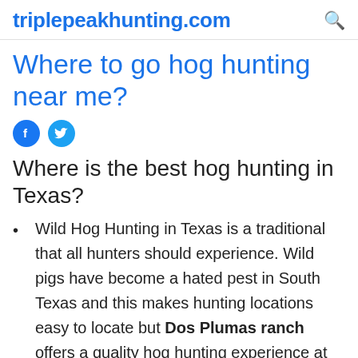triplepeakhunting.com
Where to go hog hunting near me?
Where is the best hog hunting in Texas?
Wild Hog Hunting in Texas is a traditional that all hunters should experience. Wild pigs have become a hated pest in South Texas and this makes hunting locations easy to locate but Dos Plumas ranch offers a quality hog hunting experience at an affordable price.